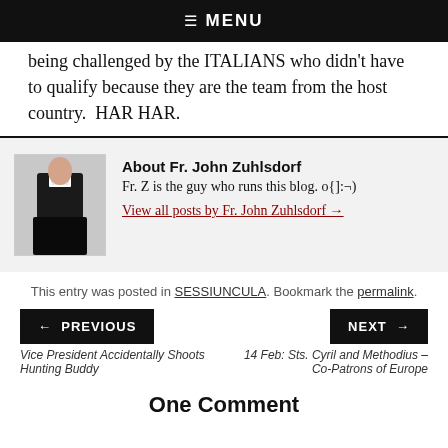☰ MENU
being challenged by the ITALIANS who didn't have to qualify because they are the team from the host country.  HAR HAR.
About Fr. John Zuhlsdorf
Fr. Z is the guy who runs this blog. o{]:¬)
View all posts by Fr. John Zuhlsdorf →
This entry was posted in SESSIUNCULA. Bookmark the permalink.
← PREVIOUS
NEXT →
Vice President Accidentally Shoots Hunting Buddy
14 Feb: Sts. Cyril and Methodius – Co-Patrons of Europe
One Comment